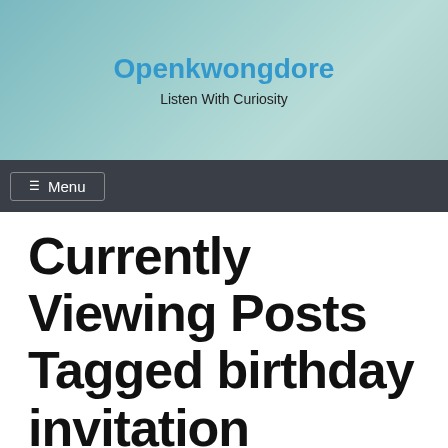Openkwongdore
Listen With Curiosity
☰ Menu
Currently Viewing Posts Tagged birthday invitation
Making Kids Birthday Invitations
🗓 November 25, 2021 🗓 Lilly Mullaly